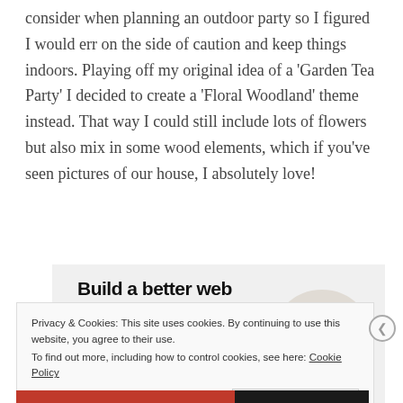consider when planning an outdoor party so I figured I would err on the side of caution and keep things indoors. Playing off my original idea of a 'Garden Tea Party' I decided to create a 'Floral Woodland' theme instead. That way I could still include lots of flowers but also mix in some wood elements, which if you've seen pictures of our house, I absolutely love!
[Figure (other): Advertisement banner with bold text 'Build a better web and a better world.' with an Apply button and a circular photo of a man.]
Privacy & Cookies: This site uses cookies. By continuing to use this website, you agree to their use. To find out more, including how to control cookies, see here: Cookie Policy
Close and accept